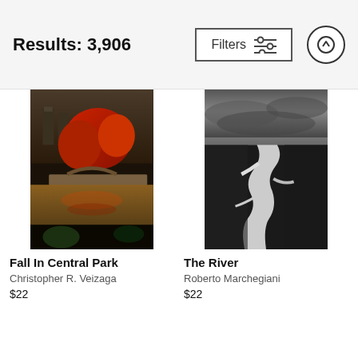Results: 3,906
[Figure (photo): Autumn scene in Central Park with red trees, a stone bridge, and reflections on a lake with city buildings in background]
Fall In Central Park
Christopher R. Veizaga
$22
[Figure (photo): Black and white aerial photo of a winding river delta or tidal channel through dark marshland under dramatic cloudy sky]
The River
Roberto Marchegiani
$22